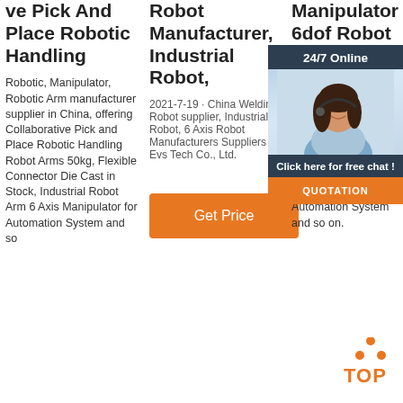ve Pick And Place Robotic Handling
Robotic, Manipulator, Robotic Arm manufacturer supplier in China, offering Collaborative Pick and Place Robotic Handling Robot Arms 50kg, Flexible Connector Die Cast in Stock, Industrial Robot Arm 6 Axis Manipulator for Automation System and so
Robot Manufacturer, Industrial Robot,
2021-7-19 · China Welding Robot supplier, Industrial Robot, 6 Axis Robot Manufacturers Suppliers - Evs Tech Co., Ltd.
[Figure (other): Orange 'Get Price' button]
Manipulator 6dof Robot Arm
Industrial Robot, CNC R... Manipu... manufacturer supplier... offering... CNC M... 6dof R... Machin... Roboti... Flexible... Conne... Cast in Stock, Industrial Robot Arm 6 Axis Manipulator for Automation System and so on.
[Figure (other): 24/7 Online chat widget with woman in headset photo, 'Click here for free chat!' text, and QUOTATION button]
[Figure (logo): TOP logo with orange dots arranged in triangle above T-O-P letters]